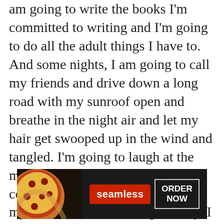am going to write the books I'm committed to writing and I'm going to do all the adult things I have to. And some nights, I am going to call my friends and drive down a long road with my sunroof open and breathe in the night air and let my hair get swooped up in the wind and tangled. I'm going to laugh at the movies and cry at sappy commercials. I am going to let myself love, but more importantly, I am going to let somebody love me. I am going to give the adult me grace, and I am going to embrace the kid in me. And my kids and I are going [×] to be okay and we are over. Be kind to
[Figure (other): Seamless food delivery advertisement banner with pizza image on left, red Seamless logo badge in center, and 'ORDER NOW' button on right, on dark background]